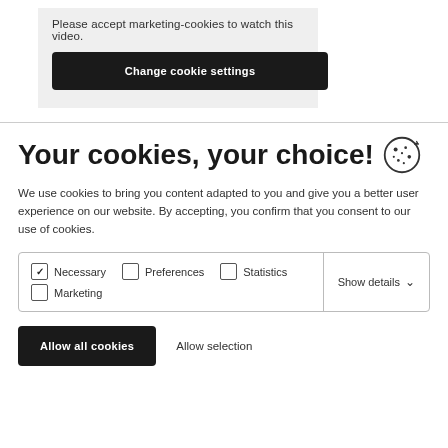Please accept marketing-cookies to watch this video.
Change cookie settings
Your cookies, your choice!
We use cookies to bring you content adapted to you and give you a better user experience on our website. By accepting, you confirm that you consent to our use of cookies.
| Necessary | Preferences | Statistics | Show details |
| Marketing |  |  |  |
Allow all cookies
Allow selection